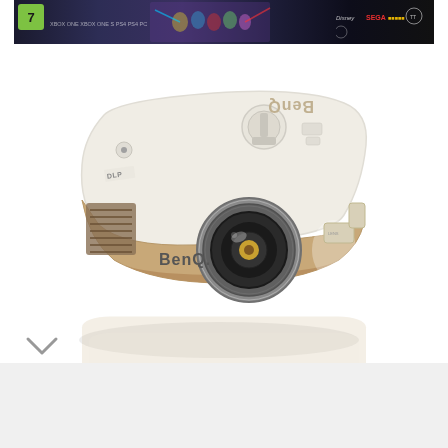[Figure (photo): Gaming advertisement banner at the top showing a dark space battle scene with a rating badge (7), gaming platform logos (Xbox, PlayStation), and various brand logos on the right]
[Figure (photo): BenQ DLP home cinema projector photographed from above at an angle, showing white and gold/champagne body with BenQ logo on front and top, ventilation grille on left side, lens in center-front, and control buttons on top. The projector has a reflection beneath it on a white surface.]